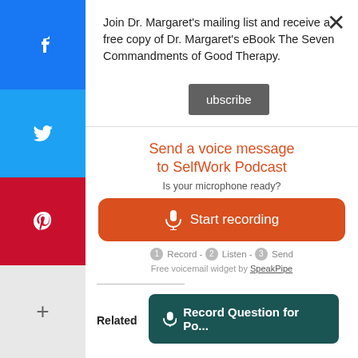Join Dr. Margaret's mailing list and receive a free copy of Dr. Margaret's eBook The Seven Commandments of Good Therapy.
Subscribe
[Figure (screenshot): SpeakPipe voice message widget: heading 'Send a voice message to SelfWork Podcast', subtext 'Is your microphone ready?', orange 'Start recording' button, steps: 1 Record - 2 Listen - 3 Send, and footer 'Free voicemail widget by SpeakPipe']
Related
Record Question for Po...